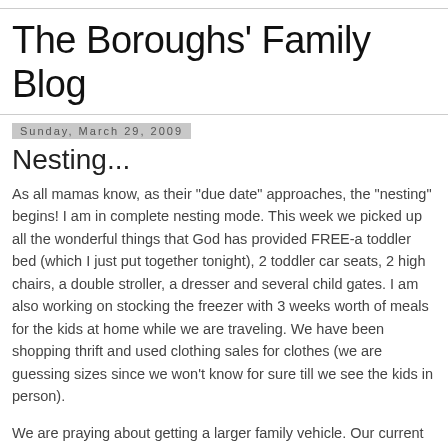The Boroughs' Family Blog
Sunday, March 29, 2009
Nesting...
As all mamas know, as their "due date" approaches, the "nesting" begins! I am in complete nesting mode. This week we picked up all the wonderful things that God has provided FREE-a toddler bed (which I just put together tonight), 2 toddler car seats, 2 high chairs, a double stroller, a dresser and several child gates. I am also working on stocking the freezer with 3 weeks worth of meals for the kids at home while we are traveling. We have been shopping thrift and used clothing sales for clothes (we are guessing sizes since we won't know for sure till we see the kids in person).
We are praying about getting a larger family vehicle. Our current vehicle will seat everyone, but its going to be tight with 2 car seats, and we have no storage room. I don't think